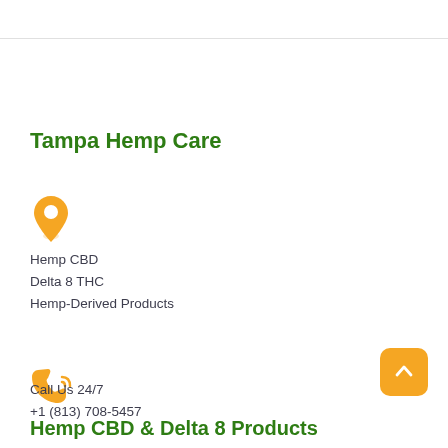Tampa Hemp Care
[Figure (illustration): Orange map pin / location icon]
Hemp CBD
Delta 8 THC
Hemp-Derived Products
[Figure (illustration): Orange phone with signal waves icon]
Call Us 24/7
+1 (813) 708-5457
Hemp CBD & Delta 8 Products